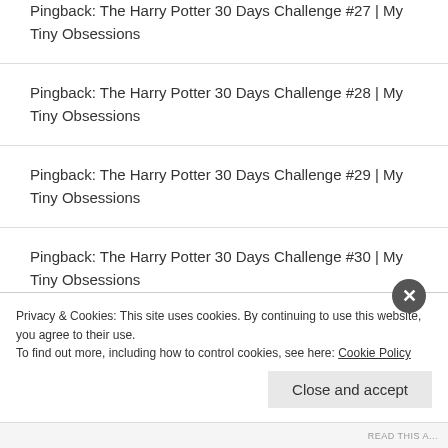Pingback: The Harry Potter 30 Days Challenge #27 | My Tiny Obsessions
Pingback: The Harry Potter 30 Days Challenge #28 | My Tiny Obsessions
Pingback: The Harry Potter 30 Days Challenge #29 | My Tiny Obsessions
Pingback: The Harry Potter 30 Days Challenge #30 | My Tiny Obsessions
Privacy & Cookies: This site uses cookies. By continuing to use this website, you agree to their use.
To find out more, including how to control cookies, see here: Cookie Policy
Close and accept